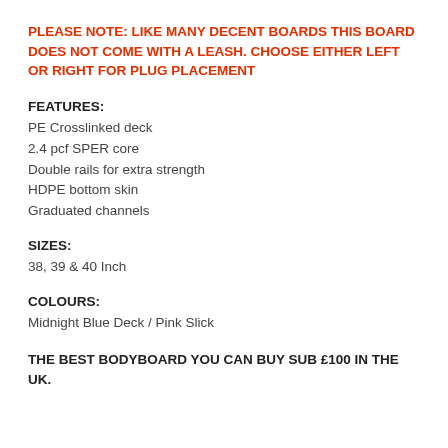PLEASE NOTE: LIKE MANY DECENT BOARDS THIS BOARD DOES NOT COME WITH A LEASH. CHOOSE EITHER LEFT OR RIGHT FOR PLUG PLACEMENT
FEATURES:
PE Crosslinked deck
2.4 pcf SPER core
Double rails for extra strength
HDPE bottom skin
Graduated channels
SIZES:
38, 39 & 40 Inch
COLOURS:
Midnight Blue Deck / Pink Slick
THE BEST BODYBOARD YOU CAN BUY SUB £100 IN THE UK.